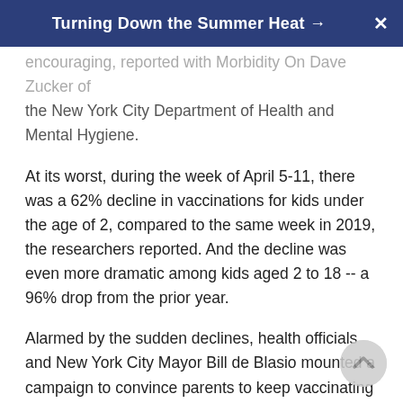Turning Down the Summer Heat →
encouraging, reported with Morbidity On Dave Zucker of the New York City Department of Health and Mental Hygiene.
At its worst, during the week of April 5-11, there was a 62% decline in vaccinations for kids under the age of 2, compared to the same week in 2019, the researchers reported. And the decline was even more dramatic among kids aged 2 to 18 -- a 96% drop from the prior year.
Alarmed by the sudden declines, health officials and New York City Mayor Bill de Blasio mounted a campaign to convince parents to keep vaccinating their children.
City health officials sent letters to pediatricians and other health care providers, urging them to reach out to parents about the issue.